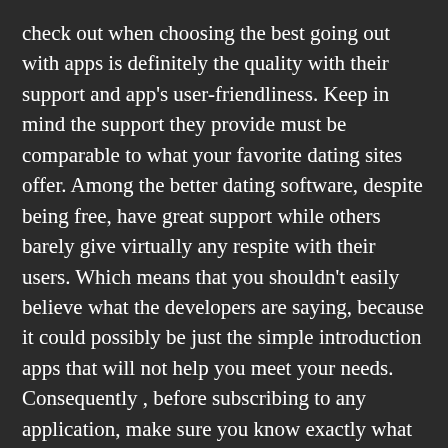check out when choosing the best going out with apps is definitely the quality with their support and app's user-friendliness. Keep in mind the support they provide must be comparable to what your favorite dating sites offer. Among the better dating software, despite being free, have great support while others barely give virtually any respite with their users. Which means that you shouldn't easily believe what the developers are saying, because it could possibly be just the simple introduction apps that will not help you meet your needs. Consequently , before subscribing to any application, make sure you know exactly what you stand to gain from it.
Online dating sites Profiles: Finally, you should also consider the standard of the online account images and information provided. Many no cost dating sites and apps in other words out random photos to lure people into connecting to. Some of them actually put out false